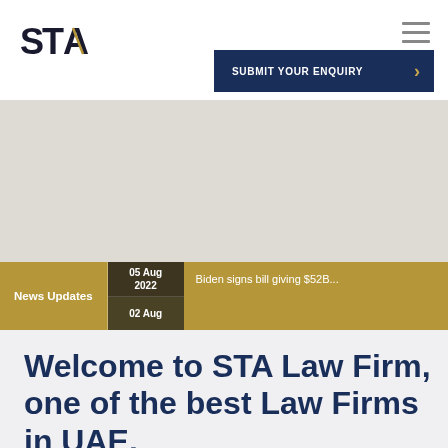[Figure (logo): STA Law Firm logo — stylized 'STA' text in dark navy/black with a gold forward-slash accent on the A]
[Figure (other): Hamburger menu icon (three horizontal lines) in grey]
[Figure (other): Dark navy 'SUBMIT YOUR ENQUIRY' button with gold chevron arrow]
[Figure (photo): Large hero image area (appears blank/light grey in this crop)]
News Updates
05 Aug 2022
Biden signs bill giving $52B...
02 Aug
Welcome to STA Law Firm, one of the best Law Firms in UAE.
STA Law Firm specializes in providing an overall